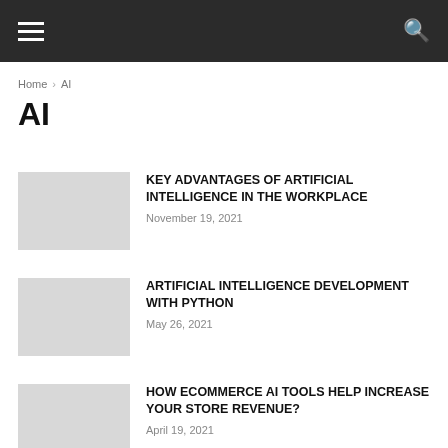≡  🔍
Home › AI
AI
KEY ADVANTAGES OF ARTIFICIAL INTELLIGENCE IN THE WORKPLACE
November 19, 2021
ARTIFICIAL INTELLIGENCE DEVELOPMENT WITH PYTHON
May 26, 2021
HOW ECOMMERCE AI TOOLS HELP INCREASE YOUR STORE REVENUE?
April 19, 2021